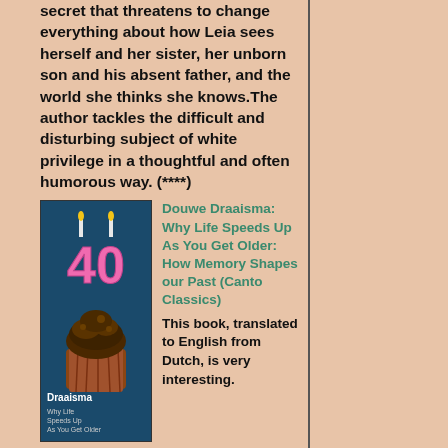secret that threatens to change everything about how Leia sees herself and her sister, her unborn son and his absent father, and the world she thinks she knows.The author tackles the difficult and disturbing subject of white privilege in a thoughtful and often humorous way. (****)
[Figure (photo): Book cover of 'Why Life Speeds Up As You Get Older' by Draaisma, showing a cupcake with a '40' candle decoration on a dark blue background]
Douwe Draaisma: Why Life Speeds Up As You Get Older: How Memory Shapes our Past (Canto Classics)
This book, translated to English from Dutch, is very interesting. However, the title is misleading. There is one small section about the phenomenon of life seeming to speed up as we get older, but it is not the subject of the entire book. That subject is mostly memory. There is a very interesting section on deja